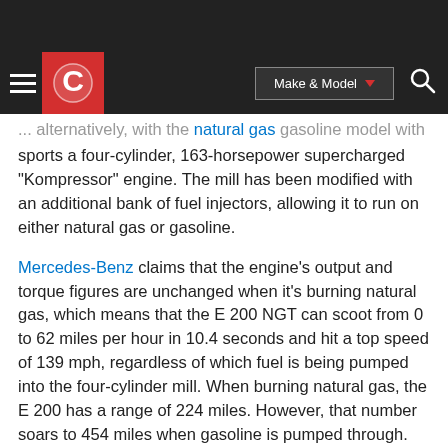[Navigation bar with Car and Driver logo, Make & Model selector, and search icon]
...alternatively, with the natural gas gasoline model with sports a four-cylinder, 163-horsepower supercharged "Kompressor" engine. The mill has been modified with an additional bank of fuel injectors, allowing it to run on either natural gas or gasoline.
Mercedes-Benz claims that the engine's output and torque figures are unchanged when it's burning natural gas, which means that the E 200 NGT can scoot from 0 to 62 miles per hour in 10.4 seconds and hit a top speed of 139 mph, regardless of which fuel is being pumped into the four-cylinder mill. When burning natural gas, the E 200 has a range of 224 miles. However, that number soars to 454 miles when gasoline is pumped through.